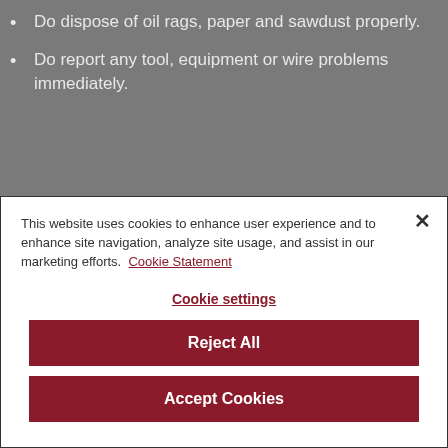Do dispose of oil rags, paper and sawdust properly.
Do report any tool, equipment or wire problems immediately.
This website uses cookies to enhance user experience and to enhance site navigation, analyze site usage, and assist in our marketing efforts. Cookie Statement
Cookie settings
Reject All
Accept Cookies